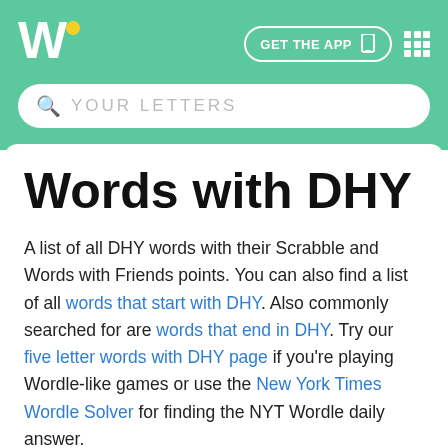Words with Friends / Wordfinder – GET THE APP
Words with DHY
A list of all DHY words with their Scrabble and Words with Friends points. You can also find a list of all words that start with DHY. Also commonly searched for are words that end in DHY. Try our five letter words with DHY page if you're playing Wordle-like games or use the New York Times Wordle Solver for finding the NYT Wordle daily answer.